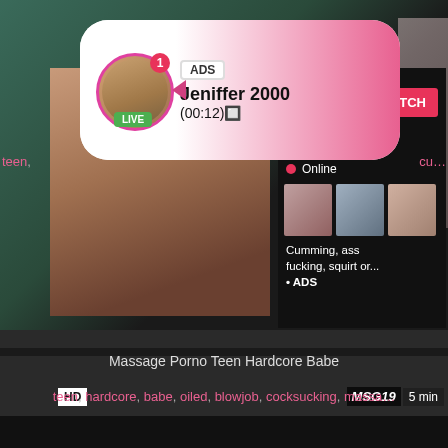[Figure (screenshot): Adult website screenshot showing a video thumbnail with overlay advertisements. Top section shows a popup with avatar, LIVE badge, ADS label, name 'Jeniffer 2000', time '(00:12)'. Main area shows a video thumbnail with overlay ad box containing 'WHAT DO YOU WANT?' text, 'WATCH' button, Online indicator, thumbnail images, text 'Cumming, ass fucking, squirt or...' and '• ADS'. HD badge and 'MSG19' / '5 min' duration badges visible. Below the video: title 'Massage Porno Teen Hardcore Babe' and tags: teen, hardcore, babe, oiled, blowjob, cocksucking, massa...]
Massage Porno Teen Hardcore Babe
teen, hardcore, babe, oiled, blowjob, cocksucking, massa...